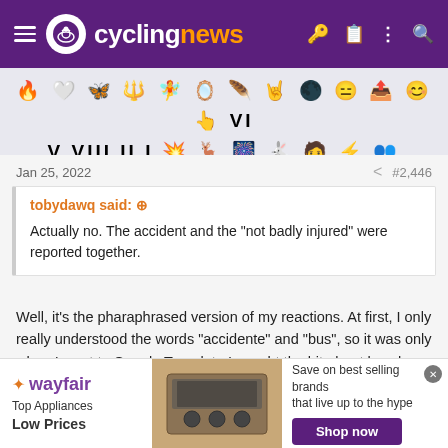cyclingnews
[Figure (other): Row of emoji/icon symbols used as forum reactions or badges]
Jan 25, 2022   #2,446
tobydawq said: ↑ Actually no. The accident and the "not badly injured" were reported together.
Well, it's the pharaphrased version of my reactions. At first, I only really understood the words "accidente" and "bus", so it was only when I went to Google Translate I caught the bit about how he was supposedly not seriously injured.
[Figure (other): Wayfair advertisement banner - Top Appliances Low Prices, Shop now]